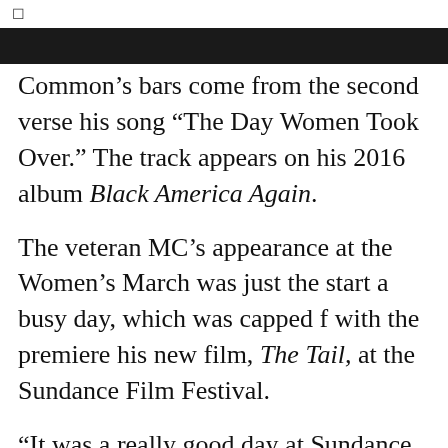Common’s bars come from the second verse his song “The Day Women Took Over.” The track appears on his 2016 album Black America Again.
The veteran MC’s appearance at the Women’s March was just the start a busy day, which was capped f with the premiere his new film, The Tail, at the Sundance Film Festival.
“It was a really good day at Sundance yesterday starting with The Women�s rally and ending with the premiere #TheTail,” he wrote on Instagram. “It�s a must see but